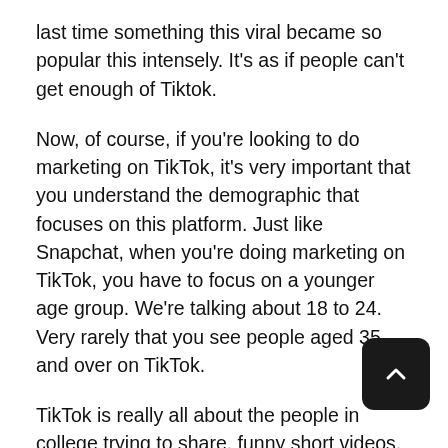last time something this viral became so popular this intensely. It's as if people can't get enough of Tiktok.
Now, of course, if you're looking to do marketing on TikTok, it's very important that you understand the demographic that focuses on this platform. Just like Snapchat, when you're doing marketing on TikTok, you have to focus on a younger age group. We're talking about 18 to 24. Very rarely that you see people aged 35 and over on TikTok.
TikTok is really all about the people in college trying to share, funny short videos, a lot of them are running jokes, a lot of them mini stories. But what they all have in common is that the capitalise on people short attention spans.
TikTok makes the argument (and quite convincingly on my